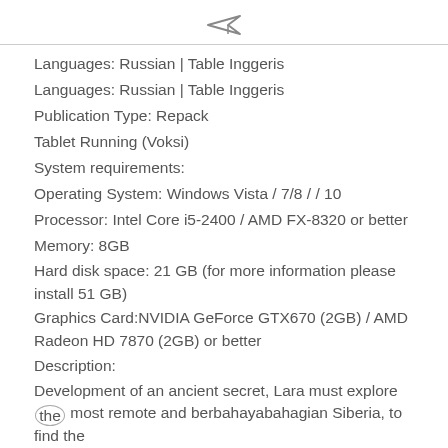[Figure (other): Small airplane/send icon at the top center of the page]
Languages: Russian | Table Inggeris
Languages: Russian | Table Inggeris
Publication Type: Repack
Tablet Running (Voksi)
System requirements:
Operating System: Windows Vista / 7/8 / / 10
Processor: Intel Core i5-2400 / AMD FX-8320 or better
Memory: 8GB
Hard disk space: 21 GB (for more information please install 51 GB)
Graphics Card:NVIDIA GeForce GTX670 (2GB) / AMD Radeon HD 7870 (2GB) or better
Description:
Development of an ancient secret, Lara must explore the most remote and berbahayabahagian Siberia, to find the